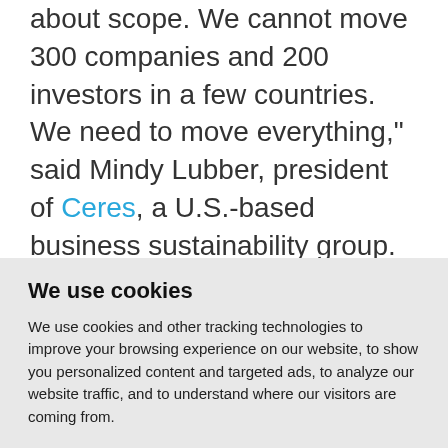about scope. We cannot move 300 companies and 200 investors in a few countries. We need to move everything," said Mindy Lubber, president of Ceres, a U.S.-based business sustainability group.
Failure to make big shifts fast would amount to putting our children and grandchildren in the path of a speeding
We use cookies
We use cookies and other tracking technologies to improve your browsing experience on our website, to show you personalized content and targeted ads, to analyze our website traffic, and to understand where our visitors are coming from.